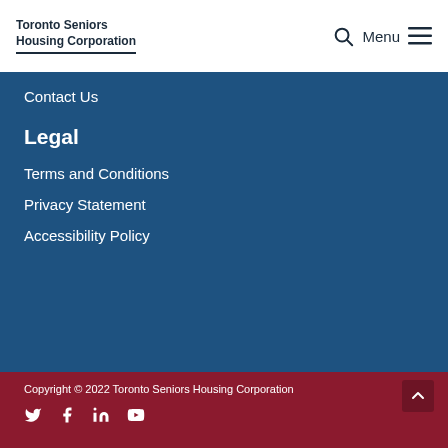Toronto Seniors Housing Corporation
Contact Us
Legal
Terms and Conditions
Privacy Statement
Accessibility Policy
Copyright © 2022 Toronto Seniors Housing Corporation